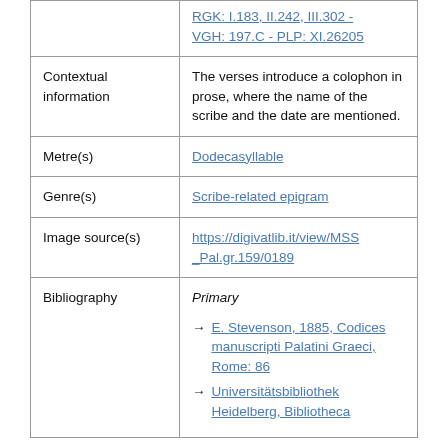|  | RGK: I.183, II.242, III.302 - VGH: 197.C - PLP: XI.26205 |
| Contextual information | The verses introduce a colophon in prose, where the name of the scribe and the date are mentioned. |
| Metre(s) | Dodecasyllable |
| Genre(s) | Scribe-related epigram |
| Image source(s) | https://digivatlib.it/view/MSS_Pal.gr.159/0189 |
| Bibliography | Primary → E. Stevenson, 1885, Codices manuscripti Palatini Graeci, Rome: 86 → Universitätsbibliothek Heidelberg, Bibliotheca |